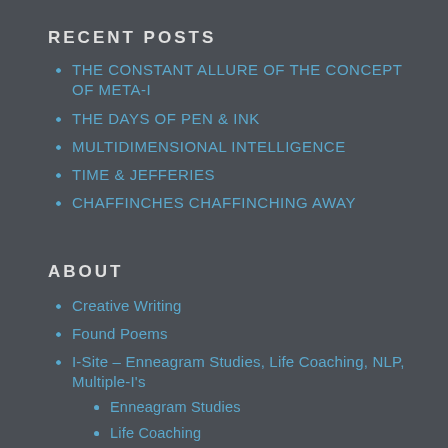RECENT POSTS
THE CONSTANT ALLURE OF THE CONCEPT OF META-I
THE DAYS OF PEN & INK
MULTIDIMENSIONAL INTELLIGENCE
TIME & JEFFERIES
CHAFFINCHES CHAFFINCHING AWAY
ABOUT
Creative Writing
Found Poems
I-Site – Enneagram Studies, Life Coaching, NLP, Multiple-I's
Enneagram Studies
Life Coaching
Multiple-I's